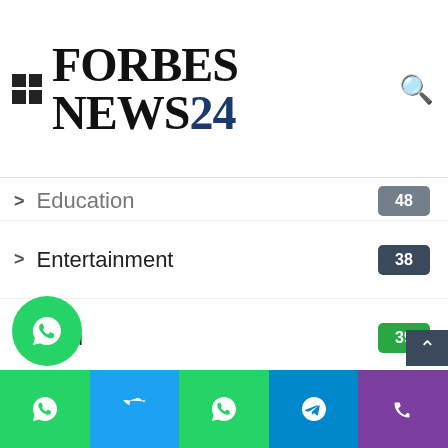[Figure (logo): Forbes News 24 logo with grid icon and search icon in header]
Education 48
Entertainment 38
Tech 39
technology 11
Marketing 30
News 27
Fashion 26
Celebrities 18
Travel 16
World
[Figure (screenshot): Bottom social share bar with WhatsApp, Twitter, WhatsApp, Telegram, Phone buttons]